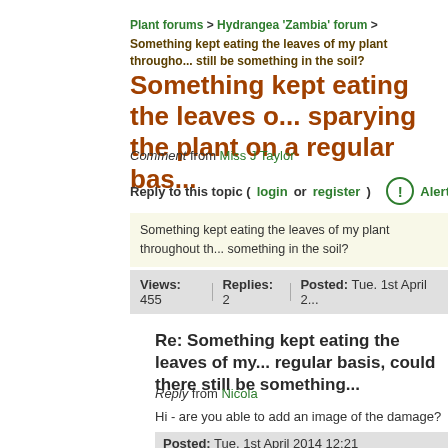Plant forums > Hydrangea 'Zambia' forum > Something kept eating the leaves of my plant throughout still be something in the soil?
Something kept eating the leaves of sparying the plant on a regular bas...
Comment from Miss J Taylor
Reply to this topic (login or register)  Alert us if th...
Something kept eating the leaves of my plant throughout th... something in the soil?
Views: 455  |  Replies: 2  |  Posted: Tue. 1st April ...
Re: Something kept eating the leaves of my... regular basis, could there still be something...
Reply from Nicola
Hi - are you able to add an image of the damage?
Posted: Tue. 1st April 2014 12:21